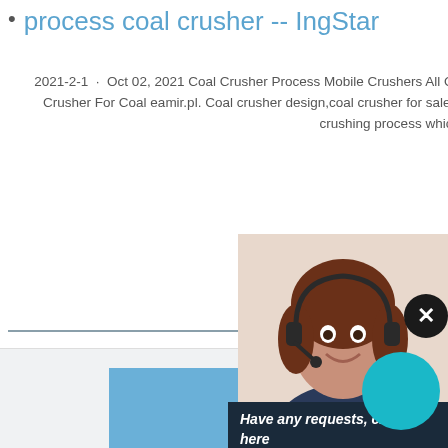process coal crusher -- IngStar
2021-2-1 · Oct 02, 2021 Coal Crusher Process Mobile Crushers All Over The Worldcoal crusher design process,Design Of Crusher For Coal eamir.pl. Coal crusher design,coal crusher for sale,coal, coal... crusher is the design especially for coal crushing process which can
[Figure (screenshot): Teal CHAT ONLINE button]
[Figure (photo): Photo of a mobile coal crusher machine and excavator outdoors on rocky ground with blue sky]
[Figure (photo): Woman with headset smiling - customer support representative]
Have any requests, click here
Quo(te)
Enquiry
limingjlmofen@sina.com